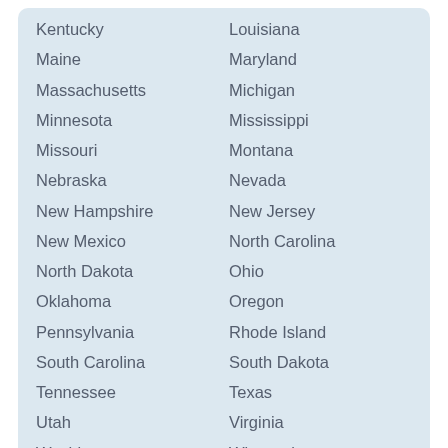Kentucky
Louisiana
Maine
Maryland
Massachusetts
Michigan
Minnesota
Mississippi
Missouri
Montana
Nebraska
Nevada
New Hampshire
New Jersey
New Mexico
North Carolina
North Dakota
Ohio
Oklahoma
Oregon
Pennsylvania
Rhode Island
South Carolina
South Dakota
Tennessee
Texas
Utah
Virginia
Washington
Wisconsin
Wyoming
Recent